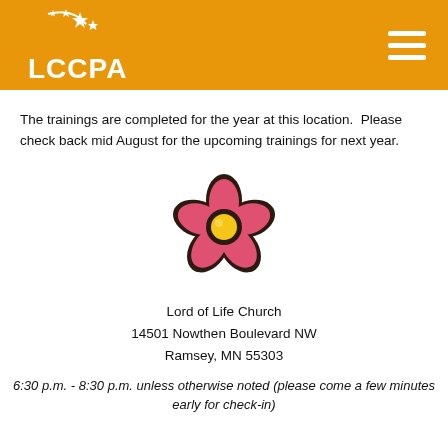LCCPAC
The trainings are completed for the year at this location.  Please check back mid August for the upcoming trainings for next year.
[Figure (illustration): Cartoon pink flower with dark brown outline and yellow center]
Lord of Life Church
14501 Nowthen Boulevard NW
Ramsey, MN 55303
6:30 p.m. - 8:30 p.m. unless otherwise noted (please come a few minutes early for check-in)